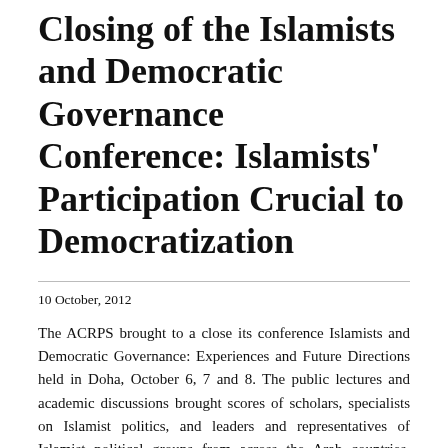Closing of the Islamists and Democratic Governance Conference: Islamists' Participation Crucial to Democratization
10 October, 2012
The ACRPS brought to a close its conference Islamists and Democratic Governance: Experiences and Future Directions held in Doha, October 6, 7 and 8. The public lectures and academic discussions brought scores of scholars, specialists on Islamist politics, and leaders and representatives of Islamist political groups from across the Arab countries. Researchers presented